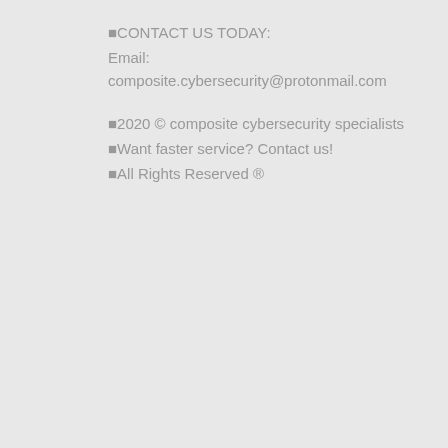■CONTACT US TODAY:
Email:
composite.cybersecurity@protonmail.com
■2020 © composite cybersecurity specialists
■Want faster service? Contact us!
■All Rights Reserved ®